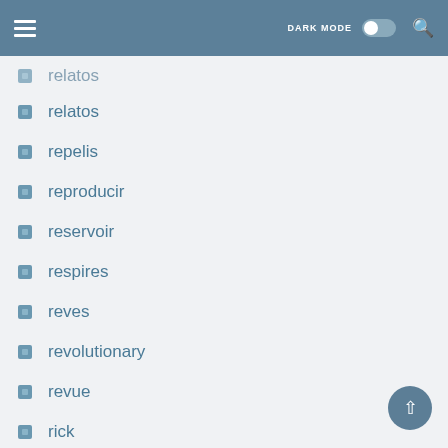DARK MODE [toggle] [search]
relatos
repelis
reproducir
reservoir
respires
reves
revolutionary
revue
rick
rishta
river